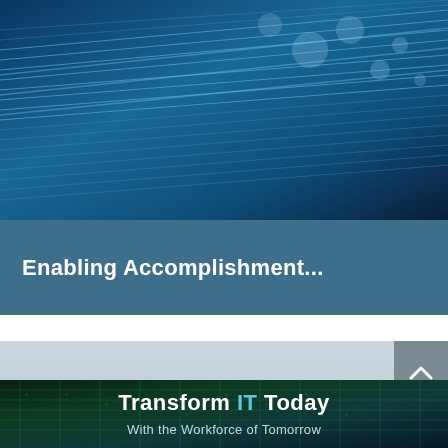[Figure (photo): Fiber optic cables background image with blue tones and light bokeh effects]
Enabling Accomplishment...
[Figure (photo): Dark circuit board / digital matrix background with teal and green tones]
Transform IT Today
With the Workforce of Tomorrow